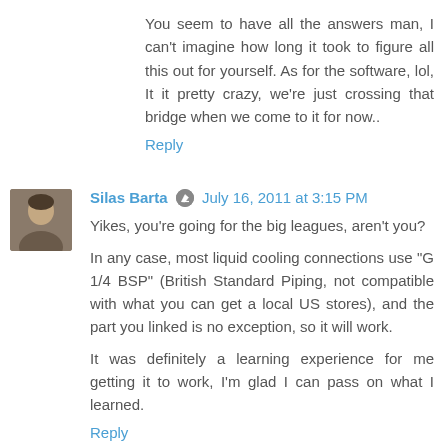You seem to have all the answers man, I can't imagine how long it took to figure all this out for yourself. As for the software, lol, It it pretty crazy, we're just crossing that bridge when we come to it for now..
Reply
Silas Barta  July 16, 2011 at 3:15 PM
Yikes, you're going for the big leagues, aren't you?
In any case, most liquid cooling connections use "G 1/4 BSP" (British Standard Piping, not compatible with what you can get a local US stores), and the part you linked is no exception, so it will work.
It was definitely a learning experience for me getting it to work, I'm glad I can pass on what I learned.
Reply
Kevin Carnage  July 27, 2011 at 7:31 PM